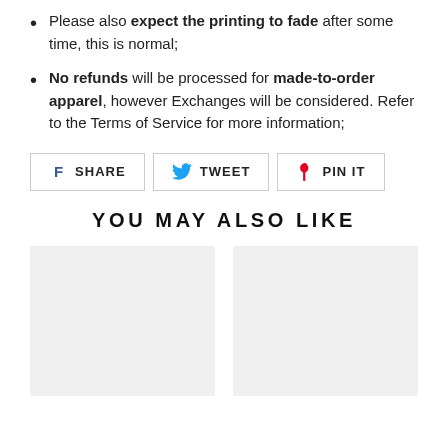Please also expect the printing to fade after some time, this is normal;
No refunds will be processed for made-to-order apparel, however Exchanges will be considered. Refer to the Terms of Service for more information;
[Figure (infographic): Social sharing buttons: SHARE (Facebook), TWEET (Twitter), PIN IT (Pinterest)]
YOU MAY ALSO LIKE
[Figure (photo): Product placeholder image left]
[Figure (photo): Product placeholder image right]